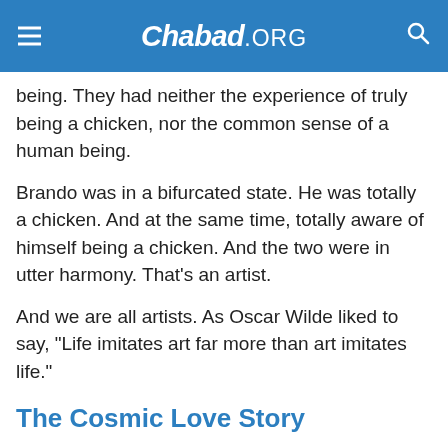Chabad.ORG
being. They had neither the experience of truly being a chicken, nor the common sense of a human being.
Brando was in a bifurcated state. He was totally a chicken. And at the same time, totally aware of himself being a chicken. And the two were in utter harmony. That’s an artist.
And we are all artists. As Oscar Wilde liked to say, “Life imitates art far more than art imitates life.”
The Cosmic Love Story
Now about your own chicken-being: Truth be told, and I hate to break it to you, but you never really created